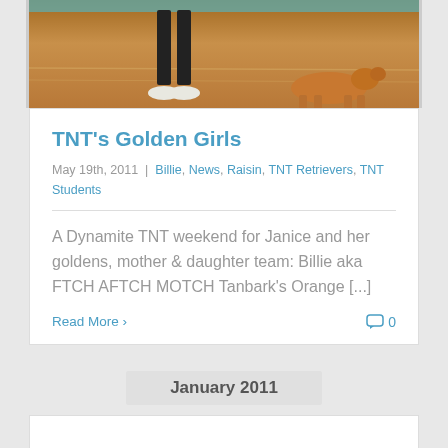[Figure (photo): Photo of a person's legs/feet in white sneakers and dark pants on a gym floor, with a golden retriever dog nearby on the wooden floor.]
TNT's Golden Girls
May 19th, 2011  |  Billie, News, Raisin, TNT Retrievers, TNT Students
A Dynamite TNT weekend for Janice and her goldens, mother & daughter team: Billie aka FTCH AFTCH MOTCH Tanbark's Orange [...]
Read More >
0
January 2011